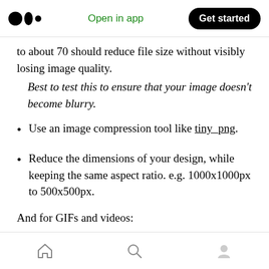Medium logo | Open in app | Get started
to about 70 should reduce file size without visibly losing image quality.
Best to test this to ensure that your image doesn't become blurry.
Use an image compression tool like tiny_png.
Reduce the dimensions of your design, while keeping the same aspect ratio. e.g. 1000x1000px to 500x500px.
And for GIFs and videos:
minimise moving objects.
Home | Search | Profile